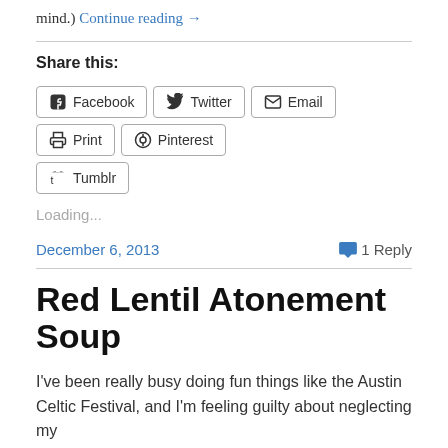mind.) Continue reading →
Share this:
Facebook  Twitter  Email  Print  Pinterest  Tumblr
Loading...
December 6, 2013   1 Reply
Red Lentil Atonement Soup
I've been really busy doing fun things like the Austin Celtic Festival, and I'm feeling guilty about neglecting my